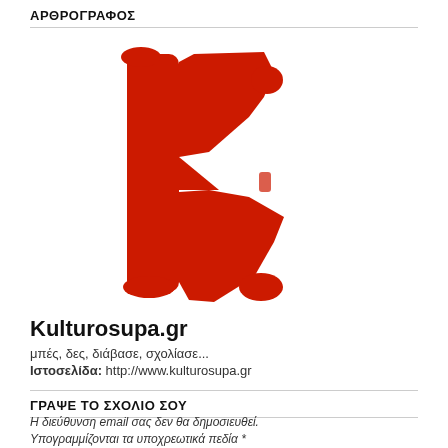ΑΡΘΡΟΓΡΑΦΟΣ
[Figure (logo): Large red decorative letter K logo for Kulturosupa.gr]
Kulturosupa.gr
μπές, δες, διάβασε, σχολίασε...
Ιστοσελίδα: http://www.kulturosupa.gr
ΓΡΑΨΕ ΤΟ ΣΧΟΛΙΟ ΣΟΥ
Η διεύθυνση email σας δεν θα δημοσιευθεί.
Υπογραμμίζονται τα υποχρεωτικά πεδία *